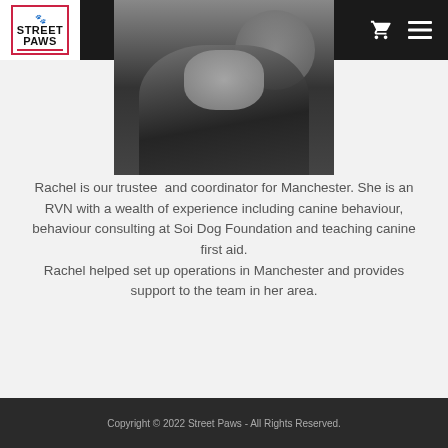Street Paws
[Figure (photo): Black and white photo of a person holding a small dog, with another person smiling in the background]
Rachel is our trustee and coordinator for Manchester. She is an RVN with a wealth of experience including canine behaviour, behaviour consulting at Soi Dog Foundation and teaching canine first aid.
Rachel helped set up operations in Manchester and provides support to the team in her area.
Copyright © 2022 Street Paws - All Rights Reserved.